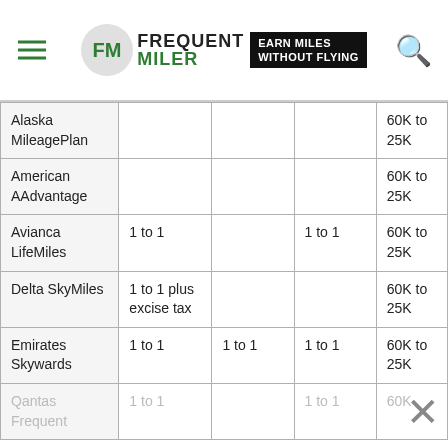Frequent Miler — Earn Miles Without Flying
| Program | Col2 | Col3 | Col4 | Col5 |
| --- | --- | --- | --- | --- |
| Alaska MileagePlan |  |  |  | 60K to 25K |
| American AAdvantage |  |  |  | 60K to 25K |
| Avianca LifeMiles | 1 to 1 |  | 1 to 1 | 60K to 25K |
| Delta SkyMiles | 1 to 1 plus excise tax |  |  | 60K to 25K |
| Emirates Skywards | 1 to 1 | 1 to 1 | 1 to 1 | 60K to 25K |
| Qantas Frequent | 1 to 1 |  | 1 to 1 | 60K |